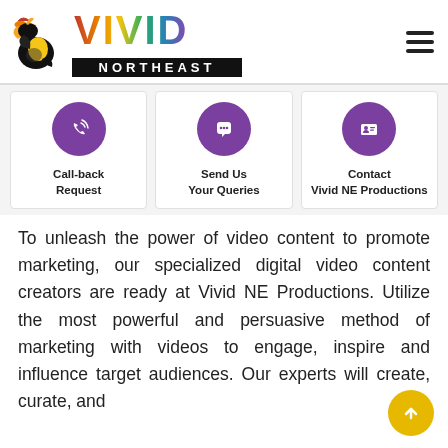[Figure (logo): Vivid Northeast logo with hornbill bird and colorful VIVID text above black NORTHEAST bar]
[Figure (infographic): Three contact option cards: Call-back Request (phone icon), Send Us Your Queries (chat icon), Contact Vivid NE Productions (contact card icon), all with purple circular icons]
To unleash the power of video content to promote marketing, our specialized digital video content creators are ready at Vivid NE Productions. Utilize the most powerful and persuasive method of marketing with videos to engage, inspire and influence target audiences. Our experts will create, curate, and